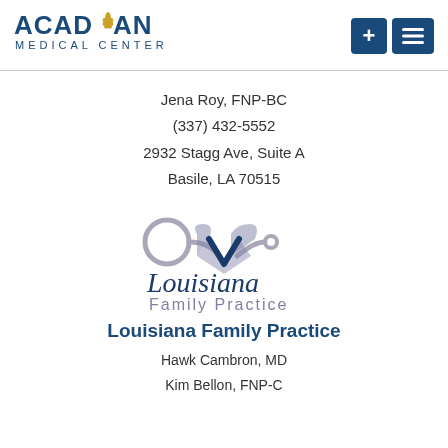[Figure (logo): Acadian Medical Center logo with blue text and gold fleur-de-lis, plus two navigation buttons (+ and list icon) on the right]
Jena Roy, FNP-BC
(337) 432-5552
2932 Stagg Ave, Suite A
Basile, LA 70515
[Figure (logo): Louisiana Family Practice logo with intertwined heart and stethoscope graphic in blue/grey, script 'Louisiana' text and 'Family Practice' subtitle]
Louisiana Family Practice
Hawk Cambron, MD
Kim Bellon, FNP-C